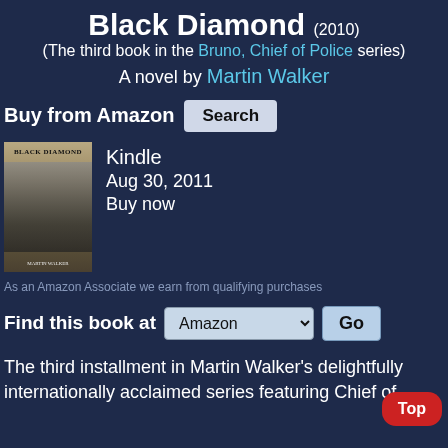Black Diamond (2010)
(The third book in the Bruno, Chief of Police series)
A novel by Martin Walker
Buy from Amazon  Search
[Figure (photo): Book cover of Black Diamond by Martin Walker]
Kindle
Aug 30, 2011
Buy now
As an Amazon Associate we earn from qualifying purchases
Find this book at  Amazon  Go
The third installment in Martin Walker's delightfully internationally acclaimed series featuring Chief of Police...